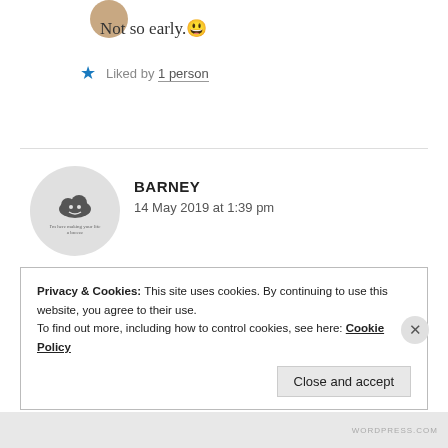Not so early. 😀
Liked by 1 person
BARNEY
14 May 2019 at 1:39 pm
I'm so ready for it though. 😎
Privacy & Cookies: This site uses cookies. By continuing to use this website, you agree to their use.
To find out more, including how to control cookies, see here: Cookie Policy
Close and accept